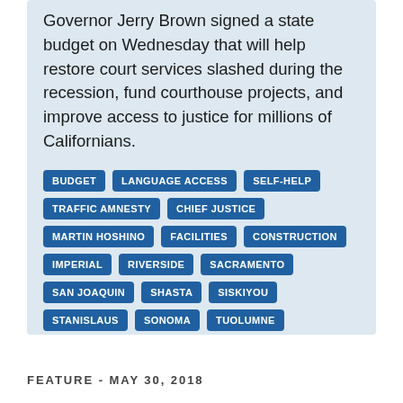Governor Jerry Brown signed a state budget on Wednesday that will help restore court services slashed during the recession, fund courthouse projects, and improve access to justice for millions of Californians.
BUDGET
LANGUAGE ACCESS
SELF-HELP
TRAFFIC AMNESTY
CHIEF JUSTICE
MARTIN HOSHINO
FACILITIES
CONSTRUCTION
IMPERIAL
RIVERSIDE
SACRAMENTO
SAN JOAQUIN
SHASTA
SISKIYOU
STANISLAUS
SONOMA
TUOLUMNE
FEATURE - MAY 30, 2018